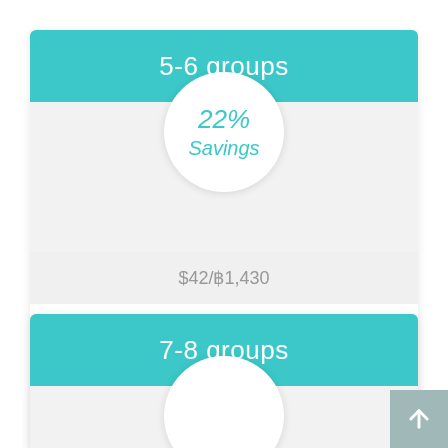5-6 groups
[Figure (infographic): Circle badge showing 22% Savings]
$42/฿1,430
$48/฿1,635
$54/฿1,840
$57/฿1,940
7-8 groups